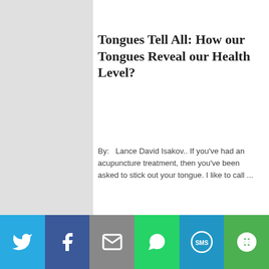[Figure (photo): Close-up of lips/mouth area, cropped at top]
Tongues Tell All: How our Tongues Reveal our Health Level?
By:   Lance David Isakov.. If you've had an acupuncture treatment, then you've been asked to stick out your tongue. I like to call ...
[Figure (photo): Close-up macro photo of a rainbow-colored iris of an eye]
[Figure (infographic): Social sharing bar with Twitter, Facebook, Email, WhatsApp, SMS, and More buttons]